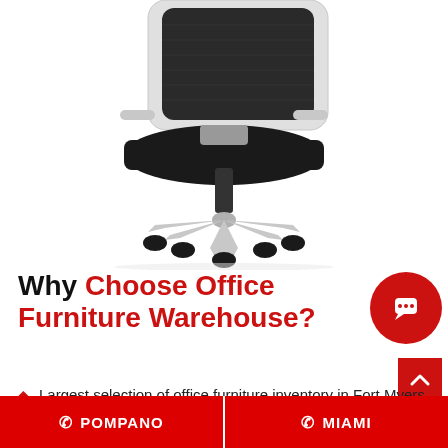[Figure (photo): Office chair with white frame, black mesh back, and black seat on a white five-star base with casters, photographed from front-lower angle on white background]
Why Choose Office Furniture Warehouse?
[Figure (other): Red circular chat/message button icon]
Largest selection of office furniture inventory in Fort Myers
POMPANO  |  MIAMI